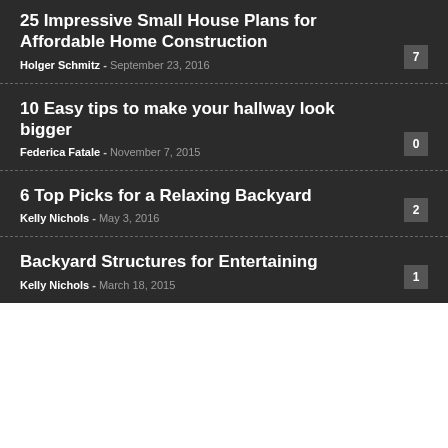25 Impressive Small House Plans for Affordable Home Construction
Holger Schmitz - September 23, 2016   7
10 Easy tips to make your hallway look bigger
Federica Fatale - November 7, 2015   0
6 Top Picks for a Relaxing Backyard
Kelly Nichols - May 3, 2016   2
Backyard Structures for Entertaining
Kelly Nichols - March 18, 2015   1